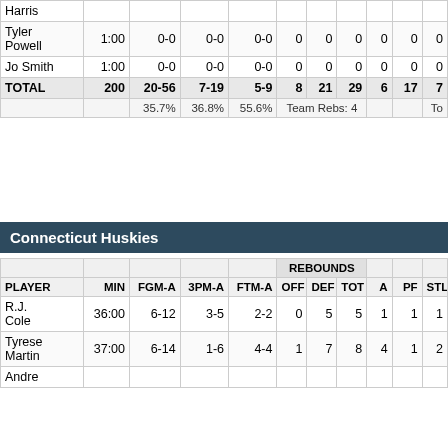| PLAYER | MIN | FGM-A | 3PM-A | FTM-A | OFF | DEF | TOT | A | PF | STL |
| --- | --- | --- | --- | --- | --- | --- | --- | --- | --- | --- |
| Harris |  |  |  |  |  |  |  |  |  |  |
| Tyler Powell | 1:00 | 0-0 | 0-0 | 0-0 | 0 | 0 | 0 | 0 | 0 | 0 |
| Jo Smith | 1:00 | 0-0 | 0-0 | 0-0 | 0 | 0 | 0 | 0 | 0 | 0 |
| TOTAL | 200 | 20-56 | 7-19 | 5-9 | 8 | 21 | 29 | 6 | 17 | 7 |
|  |  | 35.7% | 36.8% | 55.6% | Team Rebs: 4 |  |  |  |  | To |
Connecticut Huskies
| PLAYER | MIN | FGM-A | 3PM-A | FTM-A | OFF | DEF | TOT | A | PF | STL |
| --- | --- | --- | --- | --- | --- | --- | --- | --- | --- | --- |
| R.J. Cole | 36:00 | 6-12 | 3-5 | 2-2 | 0 | 5 | 5 | 1 | 1 | 1 |
| Tyrese Martin | 37:00 | 6-14 | 1-6 | 4-4 | 1 | 7 | 8 | 4 | 1 | 2 |
| Andre |  |  |  |  |  |  |  |  |  |  |